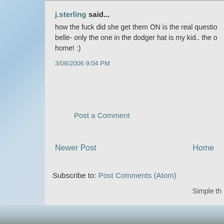j.sterling said...
how the fuck did she get them ON is the real question belle- only the one in the dodger hat is my kid.. the o home! :)
3/08/2006 9:04 PM
Post a Comment
Newer Post
Home
Subscribe to: Post Comments (Atom)
Simple th